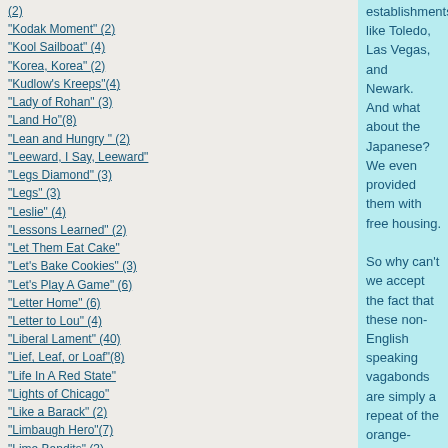(2)
"Kodak Moment" (2)
"Kool Sailboat" (4)
"Korea, Korea" (2)
"Kudlow's Kreeps"(4)
"Lady of Rohan" (3)
"Land Ho"(8)
"Lean and Hungry " (2)
"Leeward, I Say, Leeward"
"Legs Diamond" (3)
"Legs" (3)
"Leslie" (4)
"Lessons Learned" (2)
"Let Them Eat Cake"
"Let's Bake Cookies" (3)
"Let's Play A Game" (6)
"Letter Home" (6)
"Letter to Lou" (4)
"Liberal Lament" (40)
"Lief, Leaf, or Loaf"(8)
"Life In A Red State"
"Lights of Chicago"
"Like a Barack" (2)
"Limbaugh Hero"(7)
"Lime Bandits" (3)
"Lime is on my side" (6)
"Limestone Cowboys" (3)
"Lip Smackin' Good?"(6)
"Little Big Horn (2)"
establishments like Toledo, Las Vegas, and Newark.  And what about the Japanese?  We even provided them with free housing.

So why can't we accept the fact that these non-English speaking vagabonds are simply a repeat of the orange-pickers from Oklahoma who descended upon California in the 1930's?  The "Okies" didn't speak English either (Frodo defies any reader to translate "Boomer Sooner.")  In fact, the only people who seemed to get out of whack with Tom Joad and company were residents of a couple of Western States.  So maybe